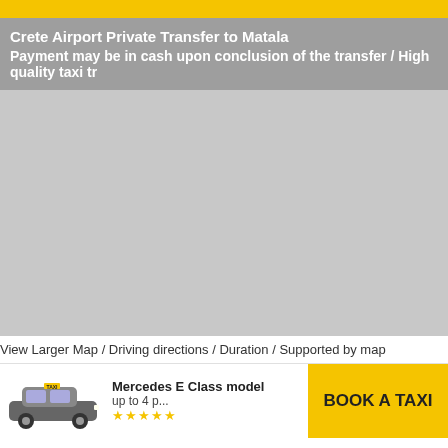Crete Airport Private Transfer to Matala
Payment may be in cash upon conclusion of the transfer / High quality taxi tr
[Figure (map): Grey map area showing a route map for Crete Airport Private Transfer to Matala]
View Larger Map / Driving directions / Duration / Supported by map
[Figure (photo): Mercedes E Class model car image]
Mercedes E Class model
up to 4 p...
BOOK A TAXI